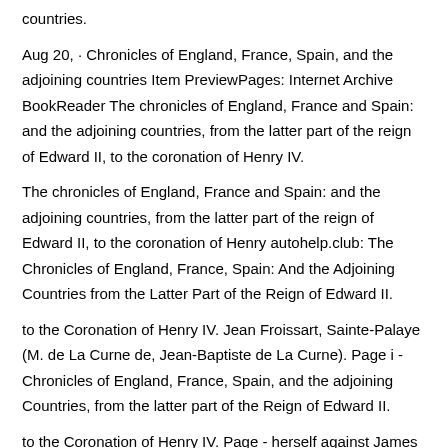countries.
Aug 20,  · Chronicles of England, France, Spain, and the adjoining countries Item PreviewPages: Internet Archive BookReader The chronicles of England, France and Spain: and the adjoining countries, from the latter part of the reign of Edward II, to the coronation of Henry IV.
The chronicles of England, France and Spain: and the adjoining countries, from the latter part of the reign of Edward II, to the coronation of Henry autohelp.club: The Chronicles of England, France, Spain: And the Adjoining Countries from the Latter Part of the Reign of Edward II.
to the Coronation of Henry IV. Jean Froissart, Sainte-Palaye (M. de La Curne de, Jean-Baptiste de La Curne). Page i - Chronicles of England, France, Spain, and the adjoining Countries, from the latter part of the Reign of Edward II.
to the Coronation of Henry IV. Page - herself against James le Gris, judged it should be decided in the tilt-yard, by a duel for life or death.